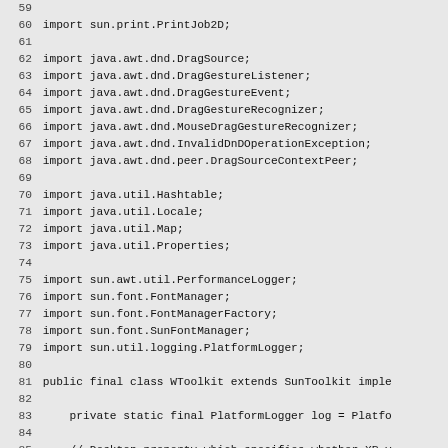Java source code snippet showing import statements and class declaration (lines 59-88)